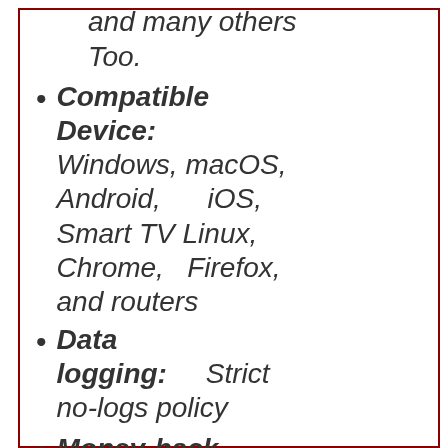and many others Too.
Compatible Device: Windows, macOS, Android, iOS, Smart TV Linux, Chrome, Firefox, and routers
Data logging: Strict no-logs policy
Money-back